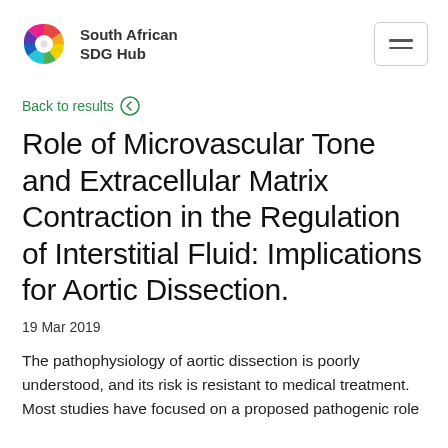South African SDG Hub
Back to results
Role of Microvascular Tone and Extracellular Matrix Contraction in the Regulation of Interstitial Fluid: Implications for Aortic Dissection.
19 Mar 2019
The pathophysiology of aortic dissection is poorly understood, and its risk is resistant to medical treatment. Most studies have focused on a proposed pathogenic role